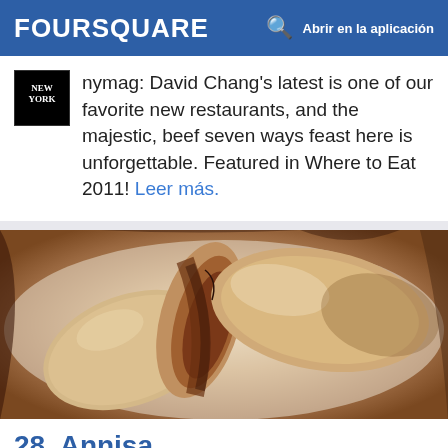FOURSQUARE   Abrir en la aplicación
nymag: David Chang's latest is one of our favorite new restaurants, and the majestic, beef seven ways feast here is unforgettable. Featured in Where to Eat 2011! Leer más.
[Figure (photo): Close-up photo of dumplings or steamed buns with fillings on a white plate, warm golden-brown tones with an Instagram-style filter]
28. Annisa
13 Barrow St (btwn Bleeker & W 4th St), Nueva